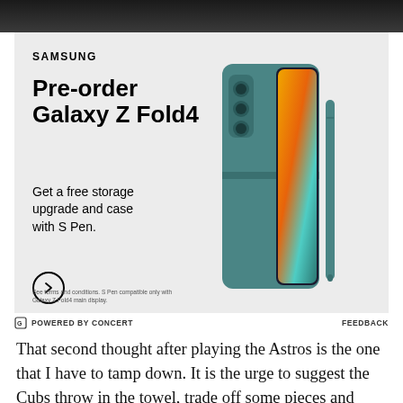[Figure (photo): Dark image strip at top of page, partial photo]
[Figure (photo): Samsung advertisement for Galaxy Z Fold4 pre-order. Light grey background with Samsung logo, headline 'Pre-order Galaxy Z Fold4', subtext 'Get a free storage upgrade and case with S Pen.', arrow button, fine print about terms and conditions. Right side shows product photo of teal Galaxy Z Fold4 phone in case with S Pen stylus.]
POWERED BY CONCERT   FEEDBACK
That second thought after playing the Astros is the one that I have to tamp down. It is the urge to suggest the Cubs throw in the towel, trade off some pieces and